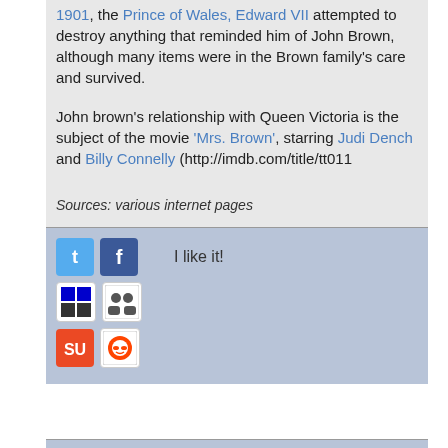1901, the Prince of Wales, Edward VII attempted to destroy anything that reminded him of John Brown, although many items were in the Brown family's care and survived.
John brown's relationship with Queen Victoria is the subject of the movie 'Mrs. Brown', starring Judi Dench and Billy Connelly (http://imdb.com/title/tt011
Sources: various internet pages
[Figure (infographic): Social sharing icons bar with Twitter, Facebook, Delicious, MySpace, StumbleUpon, Reddit icons and 'I like it!' text]